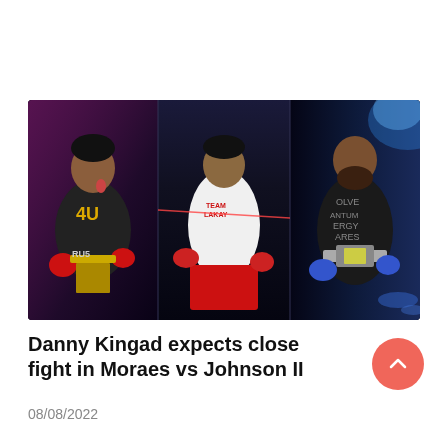[Figure (photo): Three MMA fighters standing in arena lighting — left: fighter in black shirt with tongue out holding belt, middle: fighter in white shirt and red shorts, right: bald fighter with beard holding championship belt in black shirt]
Danny Kingad expects close fight in Moraes vs Johnson II
08/08/2022